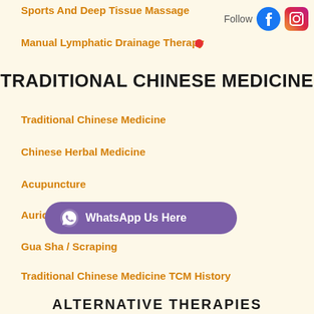Sports And Deep Tissue Massage
Manual Lymphatic Drainage Therapy
TRADITIONAL CHINESE MEDICINE
Traditional Chinese Medicine
Chinese Herbal Medicine
Acupuncture
Auricular Therapy
Gua Sha / Scraping
Traditional Chinese Medicine TCM History
ALTERNATIVE THERAPIES